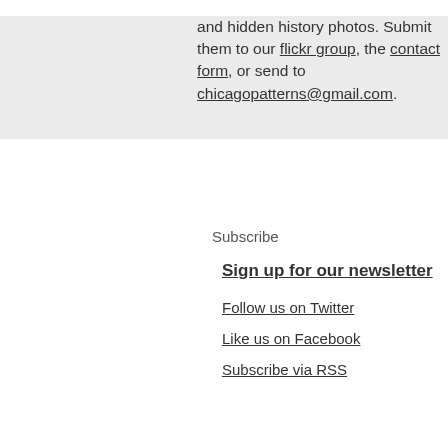and hidden history photos. Submit them to our flickr group, the contact form, or send to chicagopatterns@gmail.com.
Subscribe
Sign up for our newsletter
Follow us on Twitter
Like us on Facebook
Subscribe via RSS